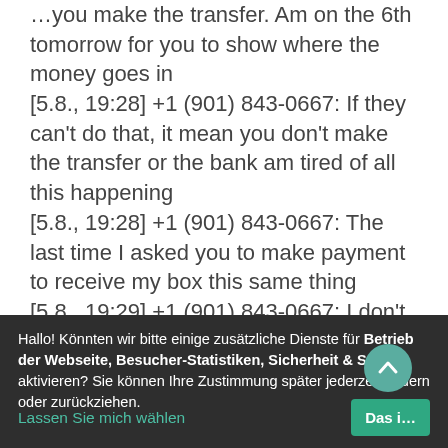…you make the transfer. Am on the 6th tomorrow for you to show where the money goes in
[5.8., 19:28] +1 (901) 843-0667: If they can't do that, it mean you don't make the transfer or the bank am tired of all this happening
[5.8., 19:28] +1 (901) 843-0667: The last time I asked you to make payment to receive my box this same thing
[5.8., 19:29] +1 (901) 843-0667: I don't even know if this money is transferred or not
[5.8., 19:29] +1 (901) 843-0667: Am
Hallo! Könnten wir bitte einige zusätzliche Dienste für Betrieb der Webseite, Besucher-Statistiken, Sicherheit & Styling aktivieren? Sie können Ihre Zustimmung später jederzeit ändern oder zurückziehen.
Lassen Sie mich wählen
Das i…